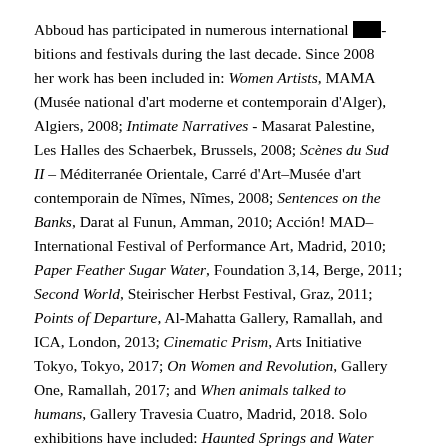Abboud has participated in numerous international exhibitions and festivals during the last decade. Since 2008 her work has been included in: Women Artists, MAMA (Musée national d'art moderne et contemporain d'Alger), Algiers, 2008; Intimate Narratives - Masarat Palestine, Les Halles des Schaerbek, Brussels, 2008; Scènes du Sud II – Méditerranée Orientale, Carré d'Art–Musée d'art contemporain de Nîmes, Nîmes, 2008; Sentences on the Banks, Darat al Funun, Amman, 2010; Acción! MAD–International Festival of Performance Art, Madrid, 2010; Paper Feather Sugar Water, Foundation 3,14, Berge, 2011; Second World, Steirischer Herbst Festival, Graz, 2011; Points of Departure, Al-Mahatta Gallery, Ramallah, and ICA, London, 2013; Cinematic Prism, Arts Initiative Tokyo, Tokyo, 2017; On Women and Revolution, Gallery One, Ramallah, 2017; and When animals talked to humans, Gallery Travesia Cuatro, Madrid, 2018. Solo exhibitions have included: Haunted Springs and Water